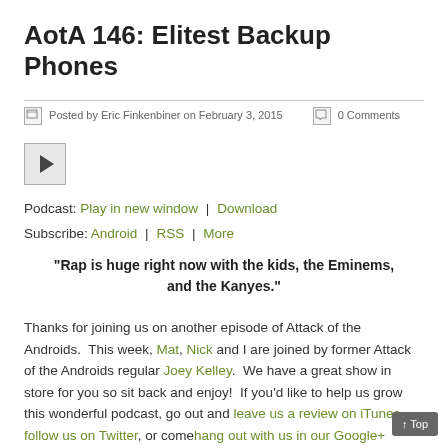AotA 146: Elitest Backup Phones
Posted by Eric Finkenbiner on February 3, 2015    0 Comments
[Figure (other): Audio player play button]
Podcast: Play in new window | Download
Subscribe: Android | RSS | More
“Rap is huge right now with the kids, the Eminems, and the Kanyes.”
Thanks for joining us on another episode of Attack of the Androids. This week, Mat, Nick and I are joined by former Attack of the Androids regular Joey Kelley. We have a great show in store for you so sit back and enjoy! If you'd like to help us grow this wonderful podcast, go out and leave us a review on iTunes, follow us on Twitter, or comehang out with us in our Google+ community. You can (and should) also join us LIVE every Tuesday in our official